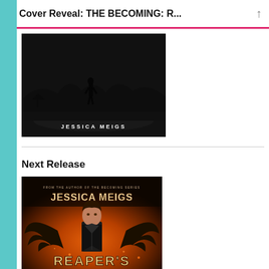Cover Reveal: THE BECOMING: R...
[Figure (photo): Book cover for a Jessica Meigs novel showing a dark silhouette of a figure standing in a dimly lit outdoor scene. The author name JESSICA MEIGS is displayed in white spaced letters near the bottom of the cover.]
Next Release
[Figure (photo): Book cover for 'Reaper's' by Jessica Meigs. Shows a man with dark hair wearing a leather jacket, with large dark wings spread behind him against a fiery background. Text reads 'FROM THE AUTHOR OF THE BECOMING SERIES' and 'JESSICA MEIGS' at top, 'REAPER'S' at bottom.]